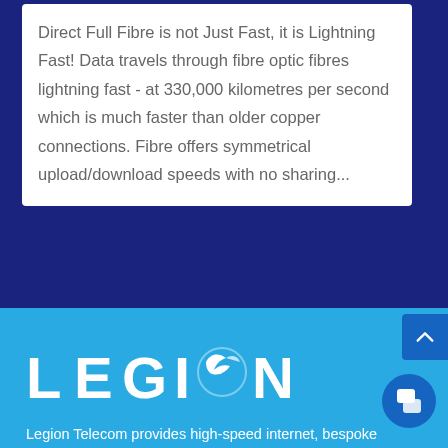Direct Full Fibre is not Just Fast, it is Lightning Fast! Data travels through fibre optic fibres lightning fast - at 330,000 kilometres per second which is much faster than older copper connections. Fibre offers symmetrical upload/download speeds with no sharing...
[Figure (logo): Legion Telecom logo in white on light blue background, with stylized bird/wing graphic replacing the letter O]
Legion Telecom provides high-speed internet, bespoke fibre